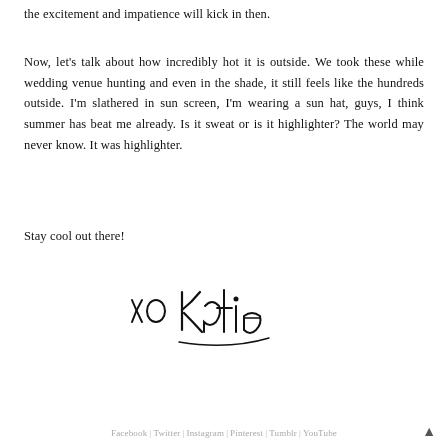the excitement and impatience will kick in then.
Now, let's talk about how incredibly hot it is outside. We took these while wedding venue hunting and even in the shade, it still feels like the hundreds outside. I'm slathered in sun screen, I'm wearing a sun hat, guys, I think summer has beat me already. Is it sweat or is it highlighter? The world may never know. It was highlighter.
Stay cool out there!
[Figure (illustration): Handwritten cursive signature reading 'xo Katie' in black ink]
Facebook | Twitter | Instagram | Pinterest | Tumblr | YouTube